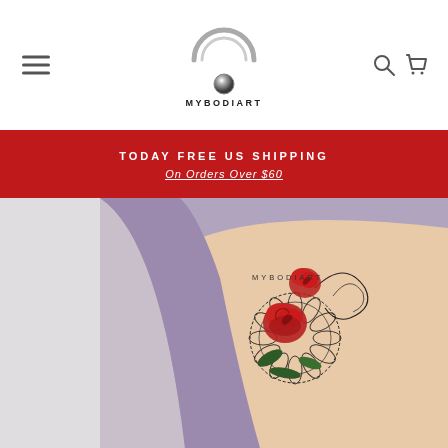[Figure (logo): MyBodiArt logo — a piercing ring/hoop with a ball, with the text MYBODIART below it]
TODAY FREE US SHIPPING
On Orders Over $60
[Figure (photo): A person wearing a purple top, showing a red rose tattoo with lace/mandala detailing on the rib/side area, watermarked MYBODIART]